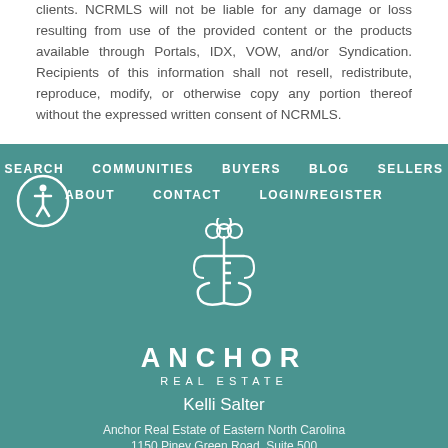clients. NCRMLS will not be liable for any damage or loss resulting from use of the provided content or the products available through Portals, IDX, VOW, and/or Syndication. Recipients of this information shall not resell, redistribute, reproduce, modify, or otherwise copy any portion thereof without the expressed written consent of NCRMLS.
SEARCH  COMMUNITIES  BUYERS  BLOG  SELLERS  ABOUT  CONTACT  LOGIN/REGISTER
[Figure (logo): Anchor Real Estate logo with anchor and key design]
ANCHOR REAL ESTATE
Kelli Salter
Anchor Real Estate of Eastern North Carolina
1150 Piney Green Road, Suite 500